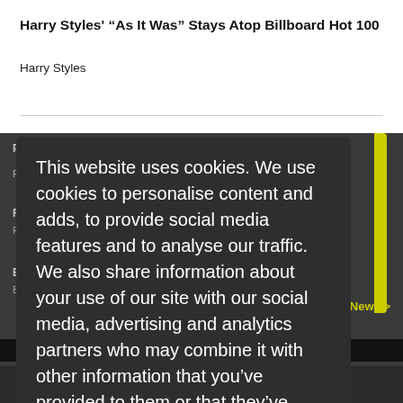Harry Styles' “As It Was” Stays Atop Billboard Hot 100
Harry Styles
Post Malone Shares Additional Twelve Carat Tour Dates
Rihanna Drops New Single “This Hell”
Billie Eilish Cancels Recent Event in London
This website uses cookies. We use cookies to personalise content and adds, to provide social media features and to analyse our traffic. We also share information about your use of our site with our social media, advertising and analytics partners who may combine it with other information that you’ve provided to them or that they’ve collected from your use of their services. Learn more
I’m ok with that.
< More of Today’s News >
Unsubscribe | Top | Web Version
Copyright © Pressparty Limited. All Rights Reserved. 'Pressparty' is the Registered Trade Mark of Pressparty Limited.